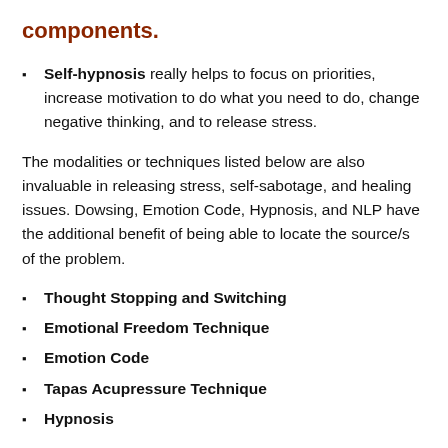components.
Self-hypnosis really helps to focus on priorities, increase motivation to do what you need to do, change negative thinking, and to release stress.
The modalities or techniques listed below are also invaluable in releasing stress, self-sabotage, and healing issues. Dowsing, Emotion Code, Hypnosis, and NLP have the additional benefit of being able to locate the source/s of the problem.
Thought Stopping and Switching
Emotional Freedom Technique
Emotion Code
Tapas Acupressure Technique
Hypnosis